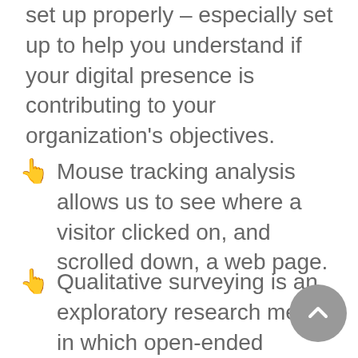set up properly – especially set up to help you understand if your digital presence is contributing to your organization's objectives.
Mouse tracking analysis allows us to see where a visitor clicked on, and scrolled down, a web page.
Qualitative surveying is an exploratory research method in which open-ended questions are used to probe a topic (as opposed to quantitative surveys, which